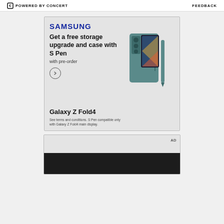POWERED BY CONCERT   FEEDBACK
[Figure (illustration): Samsung Galaxy Z Fold4 advertisement. Samsung logo at top, headline 'Get a free storage upgrade and case with S Pen', subtext 'with pre-order', arrow button, product name 'Galaxy Z Fold4', terms text, and product image of teal Galaxy Z Fold4 with S Pen.]
See terms and conditions. S Pen compatible only with Galaxy Z Fold4 main display.
[Figure (other): Second advertisement card with AD label and dark image at bottom.]